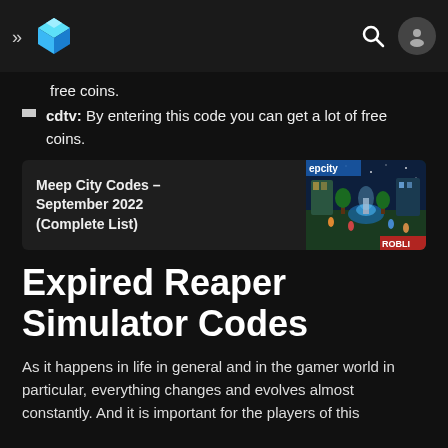>> [logo] [search] [user]
free coins.
cdtv: By entering this code you can get a lot of free coins.
[Figure (screenshot): Related content card showing 'Meep City Codes – September 2022 (Complete List)' with a Roblox Meep City game screenshot thumbnail]
Expired Reaper Simulator Codes
As it happens in life in general and in the gamer world in particular, everything changes and evolves almost constantly. And it is important for the players of this